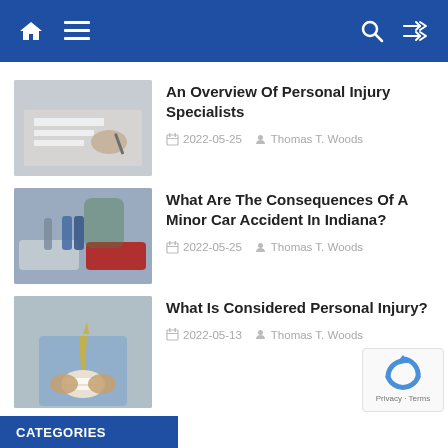Navigation bar with home, menu, search, and shuffle icons
[Figure (photo): Person signing documents at a desk, overhead view with hands and papers]
An Overview Of Personal Injury Specialists
2022-05-25   Thomas T. Woods
[Figure (photo): Two people standing near damaged cars after a minor car accident]
What Are The Consequences Of A Minor Car Accident In Indiana?
2022-05-25   Thomas T. Woods
[Figure (photo): Person in suit holding bandaged hand, close-up]
What Is Considered Personal Injury?
2022-05-13   Thomas T. Woods
CATEGORIES